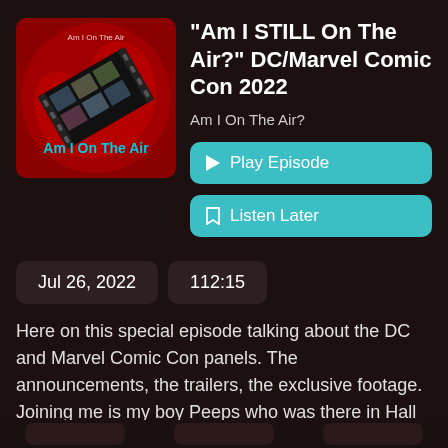[Figure (illustration): Podcast artwork for 'Am I On The Air?' showing a film strip on a red background with the show title in teal text]
"Am I STILL On The Air?" DC/Marvel Comic Con 2022
Am I On The Air?
▶ Play Episode
🔖 Listen Later
Jul 26, 2022
112:15
Here on this special episode talking about the DC and Marvel Comic Con panels. The announcements, the trailers, the exclusive footage. Joining me is my boy Peeps who was there in Hall H and can help us break
See More